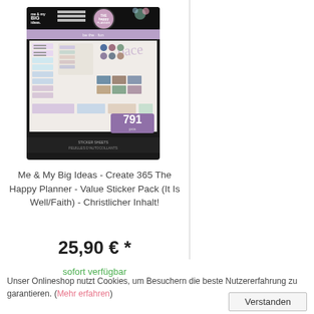[Figure (photo): Product photo of Me & My Big Ideas Create 365 The Happy Planner Value Sticker Pack (It Is Well/Faith) - showing a sticker pack packaging with colorful stickers, '791 pcs' label, BIG IDEAS branding]
Me & My Big Ideas - Create 365 The Happy Planner - Value Sticker Pack (It Is Well/Faith) - Christlicher Inhalt!
25,90 € *
sofort verfügbar
Unser Onlineshop nutzt Cookies, um Besuchern die beste Nutzererfahrung zu garantieren. (Mehr erfahren)
Verstanden